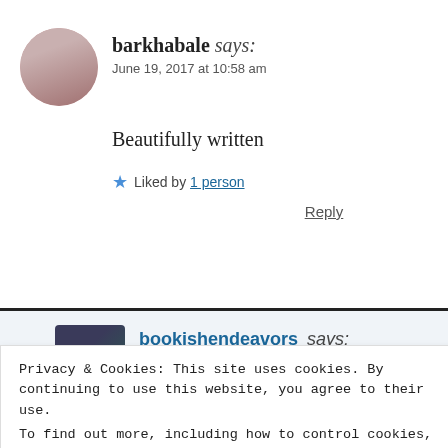barkhabale says: June 19, 2017 at 10:58 am
Beautifully written
Liked by 1 person
Reply
bookishendeavors says: June 19, 2017 at 8:56 pm
Privacy & Cookies: This site uses cookies. By continuing to use this website, you agree to their use.
To find out more, including how to control cookies, see here: Cookie Policy
Close and accept